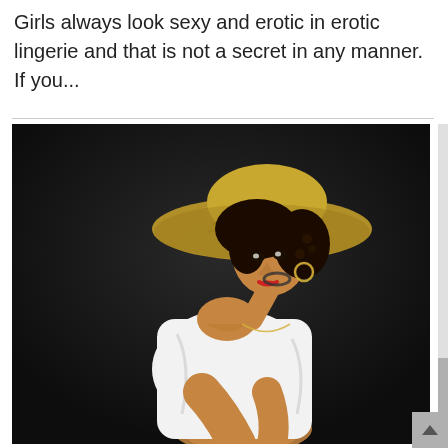Girls always look sexy and erotic in erotic lingerie and that is not a secret in any manner. If you...
[Figure (photo): A young woman with curly hair wearing a wide-brim straw hat and a white off-shoulder shirt, posing against a dark background in a studio portrait.]